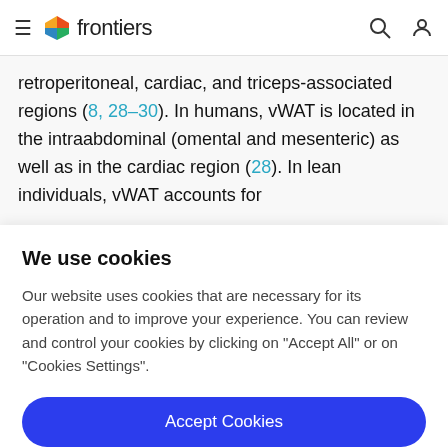frontiers
retroperitoneal, cardiac, and triceps-associated regions (8, 28–30). In humans, vWAT is located in the intraabdominal (omental and mesenteric) as well as in the cardiac region (28). In lean individuals, vWAT accounts for
We use cookies
Our website uses cookies that are necessary for its operation and to improve your experience. You can review and control your cookies by clicking on "Accept All" or on "Cookies Settings".
Accept Cookies
Cookies Settings